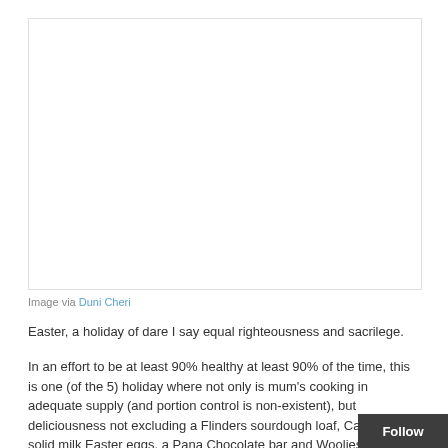[Figure (photo): White/blank image area representing a photograph placeholder]
Image via Duni Cheri
Easter, a holiday of dare I say equal righteousness and sacrilege.
In an effort to be at least 90% healthy at least 90% of the time, this is one (of the 5) holiday where not only is mum’s cooking in adequate supply (and portion control is non-existent), but deliciousness not excluding a Flinders sourdough loaf, Cadbury solid milk Easter eggs, a Pana Chocolate bar and Woolies’ finest Hot Cross Buns is all a